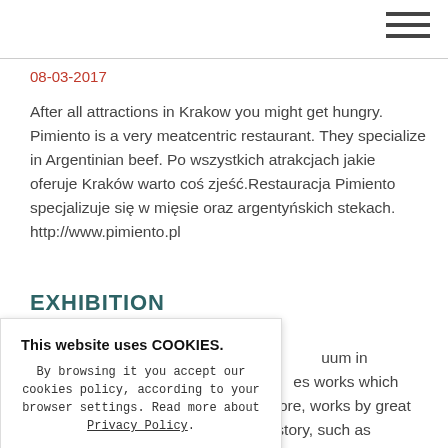08-03-2017
After all attractions in Krakow you might get hungry. Pimiento is a very meatcentric restaurant. They specialize in Argentinian beef. Po wszystkich atrakcjach jakie oferuje Kraków warto coś zjeść.Restauracja Pimiento specjalizuje się w mięsie oraz argentyńskich stekach. http://www.pimiento.pl
EXHIBITION
this Friday at the uum in Krakow: The es works which have not efore, works by great ics in art history, such as
This website uses COOKIES.

By browsing it you accept our cookies policy, according to your browser settings. Read more about Privacy Policy.

OK, close